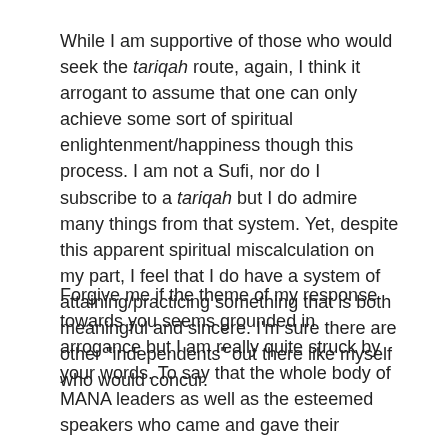While I am supportive of those who would seek the tariqah route, again, I think it arrogant to assume that one can only achieve some sort of spiritual enlightenment/happiness though this process. I am not a Sufi, nor do I subscribe to a tariqah but I do admire many things from that system. Yet, despite this apparent spiritual miscalculation on my part, I feel that I do have a system of attaining/practicing something that is both meaningful and sincere. I'm sure there are other "independents" out there like myself who would concur.
Forgive me if the theme of my response towards you seems grounded in arrogance but I am really quite struck by your words. To say that the whole body of MANA leaders as well as the esteemed speakers who came and gave their thoughts...